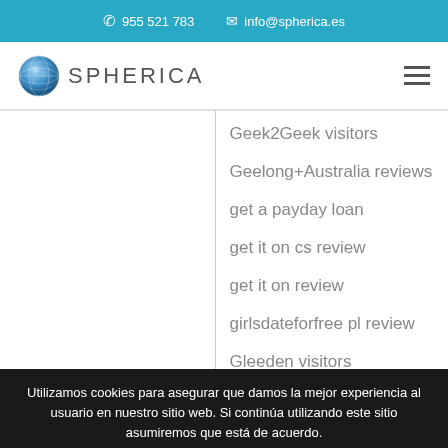✆ 955 521 783  ✉ info@spherica.es
[Figure (logo): Spherica globe logo with text SPHERICA]
Geek2Geek visitors
Geelong+Australia reviews
get a payday loan
get it on cs review
get it on review
girlsdateforfree pl review
Gleeden visitors
Utilizamos cookies para asegurar que damos la mejor experiencia al usuario en nuestro sitio web. Si continúa utilizando este sitio asumiremos que está de acuerdo.
Facebook | Twitter | Email | WhatsApp